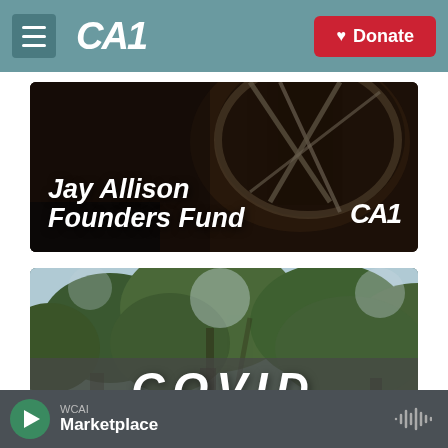[Figure (screenshot): CAI radio website navigation bar with hamburger menu, CAI logo, and red Donate button]
[Figure (photo): Jay Allison Founders Fund promotional card with dark background showing drum/instrument, white italic bold text 'Jay Allison Founders Fund' and CAI logo]
[Figure (photo): COVID-related article card showing tree canopy photograph with 'COVID' text overlay on dark grey band]
[Figure (screenshot): Audio player bar at bottom with green play button, WCAI station label, Marketplace show title, and audio waveform icon]